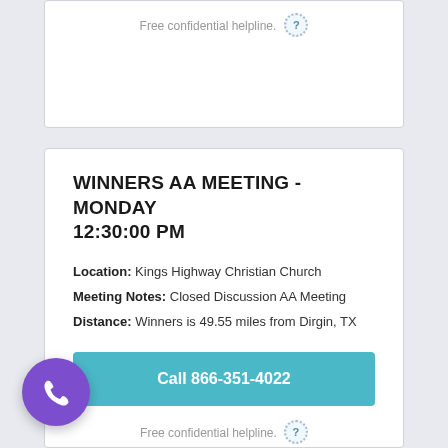Free confidential helpline.
WINNERS AA MEETING - MONDAY 12:30:00 PM
Location: Kings Highway Christian Church
Meeting Notes: Closed Discussion AA Meeting
Distance: Winners is 49.55 miles from Dirgin, TX
Call 866-351-4022
Free confidential helpline.
[Figure (illustration): Purple circular phone call FAB button with white phone handset icon]